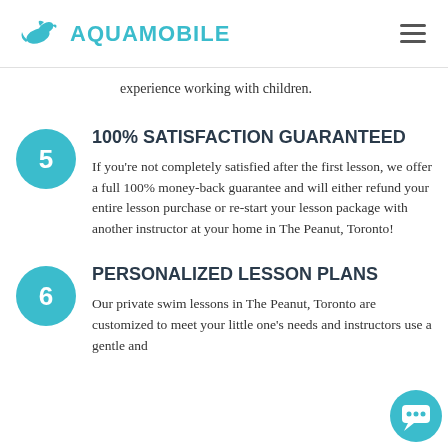AQUAMOBILE
experience working with children.
5 100% SATISFACTION GUARANTEED
If you're not completely satisfied after the first lesson, we offer a full 100% money-back guarantee and will either refund your entire lesson purchase or re-start your lesson package with another instructor at your home in The Peanut, Toronto!
6 PERSONALIZED LESSON PLANS
Our private swim lessons in The Peanut, Toronto are customized to meet your little one's needs and instructors use a gentle and